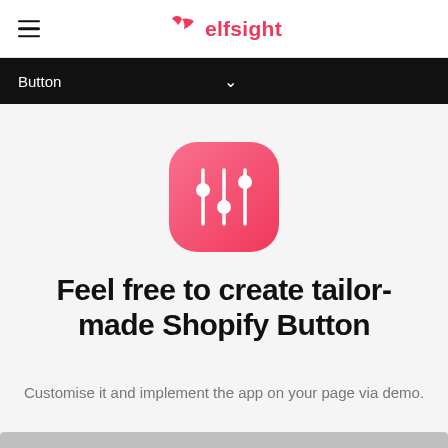elfsight
Button
[Figure (logo): Pink rounded square icon with a sliders/equalizer adjustments symbol in white]
Feel free to create tailor-made Shopify Button
Customise it and implement the app on your page via demo.